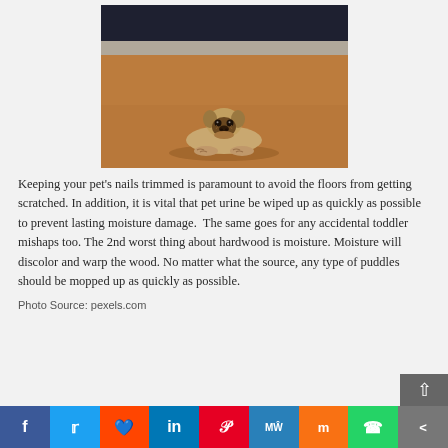[Figure (photo): A pug dog lying flat on a wooden floor, looking at the camera, with a dark background above and warm brown hardwood floor below.]
Keeping your pet's nails trimmed is paramount to avoid the floors from getting scratched. In addition, it is vital that pet urine be wiped up as quickly as possible to prevent lasting moisture damage.  The same goes for any accidental toddler mishaps too. The 2nd worst thing about hardwood is moisture. Moisture will discolor and warp the wood. No matter what the source, any type of puddles should be mopped up as quickly as possible.
Photo Source: pexels.com
[Figure (infographic): Social media sharing bar with icons for Facebook, Twitter, Reddit, LinkedIn, Pinterest, MeWe, Mix, WhatsApp, and Share buttons.]